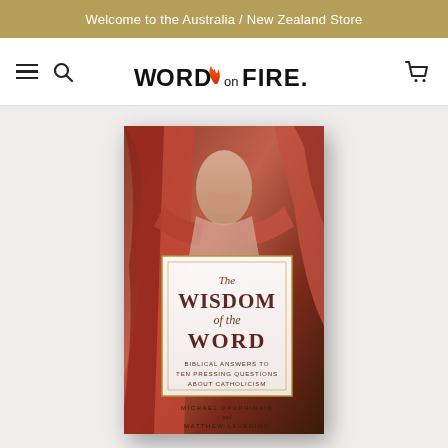Welcome to the Australia / New Zealand Store
[Figure (logo): Word on Fire logo with flame icon and text WORD on FIRE.]
[Figure (photo): Book cover of 'The Wisdom of the Word: Biblical Answers to Ten Pressing Questions About Catholicism' by Michael Dauphinais and Matthew Levering, with a Renaissance painting background of a robed figure.]